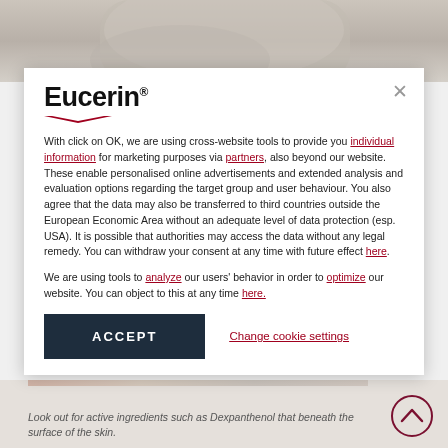[Figure (photo): Top portion of a background image showing fabric/towel in grey/beige tones]
Eucerin®
With click on OK, we are using cross-website tools to provide you individual information for marketing purposes via partners, also beyond our website. These enable personalised online advertisements and extended analysis and evaluation options regarding the target group and user behaviour. You also agree that the data may also be transferred to third countries outside the European Economic Area without an adequate level of data protection (esp. USA). It is possible that authorities may access the data without any legal remedy. You can withdraw your consent at any time with future effect here
We are using tools to analyze our users' behavior in order to optimize our website. You can object to this at any time here.
ACCEPT
Change cookie settings
Look out for active ingredients such as Dexpanthenol that beneath the surface of the skin.